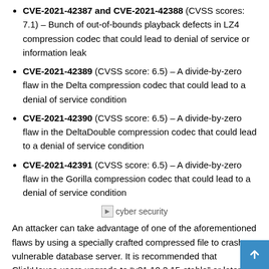CVE-2021-42387 and CVE-2021-42388 (CVSS scores: 7.1) – Bunch of out-of-bounds playback defects in LZ4 compression codec that could lead to denial of service or information leak
CVE-2021-42389 (CVSS score: 6.5) – A divide-by-zero flaw in the Delta compression codec that could lead to a denial of service condition
CVE-2021-42390 (CVSS score: 6.5) – A divide-by-zero flaw in the DeltaDouble compression codec that could lead to a denial of service condition
CVE-2021-42391 (CVSS score: 6.5) – A divide-by-zero flaw in the Gorilla compression codec that could lead to a denial of service condition
[Figure (photo): Broken image placeholder labeled 'cyber security']
An attacker can take advantage of one of the aforementioned flaws by using a specially crafted compressed file to crash a vulnerable database server. It is recommended that ClickHouse users upgrade to “v21.10.2.15-stable” or later to mitigate